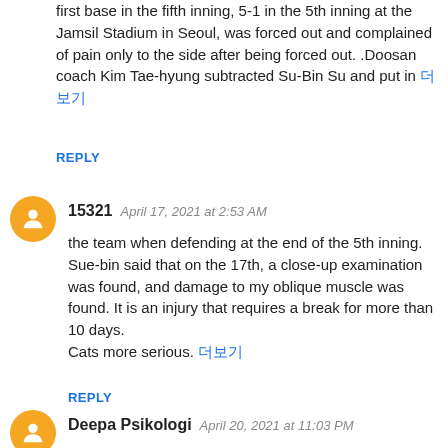first base in the fifth inning, 5-1 in the 5th inning at the Jamsil Stadium in Seoul, was forced out and complained of pain only to the side after being forced out. .Doosan coach Kim Tae-hyung subtracted Su-Bin Su and put in 더보기
REPLY
15321  April 17, 2021 at 2:53 AM
the team when defending at the end of the 5th inning.
Sue-bin said that on the 17th, a close-up examination was found, and damage to my oblique muscle was found. It is an injury that requires a break for more than 10 days.
Cats more serious. 더보기
REPLY
Deepa Psikologi  April 20, 2021 at 11:03 PM
I'm not sure why but this web site is loading extremely slow for me. Is anyone else having this issue or is it a problem on my end? I'll check back later and see if the problem still